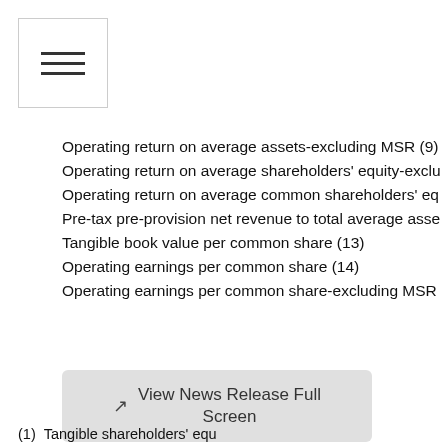[Figure (other): Hamburger menu icon inside a square border]
Operating return on average assets-excluding MSR (9)
Operating return on average shareholders' equity-exclu
Operating return on average common shareholders' eq
Pre-tax pre-provision net revenue to total average asse
Tangible book value per common share (13)
Operating earnings per common share (14)
Operating earnings per common share-excluding MSR
[Figure (other): View News Release Full Screen button]
(1)    Tangible shareholders' equ